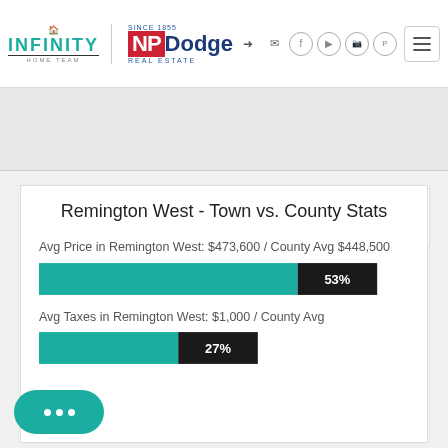[Figure (logo): Infinity Home Team and NP Dodge Real Estate logos with navigation icons and hamburger menu]
Remington West - Town vs. County Stats
Avg Price in Remington West: $473,600 / County Avg $448,500
[Figure (bar-chart): Avg Price bar]
Avg Taxes in Remington West: $1,000 / County Avg
[Figure (bar-chart): Avg Taxes bar]